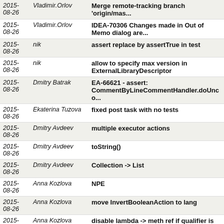| Date | Author | Message |
| --- | --- | --- |
| 2015-08-26 | Vladimir.Orlov | Merge remote-tracking branch 'origin/mas... |
| 2015-08-26 | Vladimir.Orlov | IDEA-70306 Changes made in Out of Memo dialog are... |
| 2015-08-26 | nik | assert replace by assertTrue in test |
| 2015-08-26 | nik | allow to specify max version in ExternalLibraryDescriptor |
| 2015-08-26 | Dmitry Batrak | EA-66621 - assert: CommentByLineCommentHandler.doUnco... |
| 2015-08-26 | Ekaterina Tuzova | fixed post task with no tests |
| 2015-08-26 | Dmitry Avdeev | multiple executor actions |
| 2015-08-26 | Dmitry Avdeev | toString() |
| 2015-08-26 | Dmitry Avdeev | Collection -> List |
| 2015-08-26 | Anna Kozlova | NPE |
| 2015-08-26 | Anna Kozlova | move InvertBooleanAction to lang |
| 2015-08-26 | Anna Kozlova | disable lambda -> meth ref if qualifier is no pure... |
| 2015-08-26 | Egor.Ushakov | delete kept folder, see IDEA-CR-4598 - pre extra... |